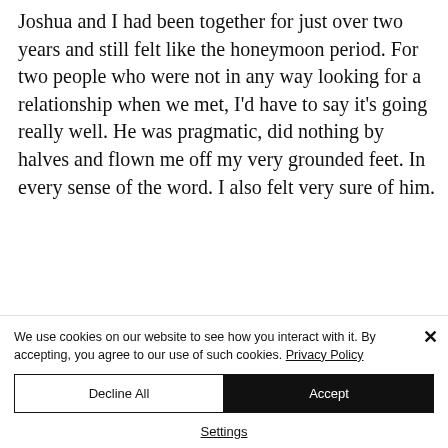Joshua and I had been together for just over two years and still felt like the honeymoon period. For two people who were not in any way looking for a relationship when we met, I'd have to say it's going really well. He was pragmatic, did nothing by halves and flown me off my very grounded feet. In every sense of the word. I also felt very sure of him.
We use cookies on our website to see how you interact with it. By accepting, you agree to our use of such cookies. Privacy Policy